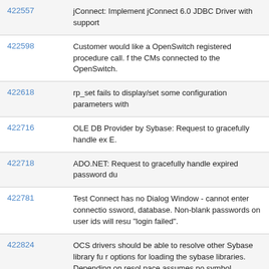| ID | Description |
| --- | --- |
| 422557 | jConnect: Implement jConnect 6.0 JDBC Driver with support |
| 422598 | Customer would like a OpenSwitch registered procedure call. f the CMs connected to the OpenSwitch. |
| 422618 | rp_set fails to display/set some configuration parameters with |
| 422716 | OLE DB Provider by Sybase: Request to gracefully handle ex E. |
| 422718 | ADO.NET: Request to gracefully handle expired password du |
| 422781 | Test Connect has no Dialog Window - cannot enter connectio ssword, database. Non-blank passwords on user ids will resu "login failed". |
| 422824 | OCS drivers should be able to resolve other Sybase library fu r options for loading the sybase libraries. Depending on resol pace assumes no symbol collisions and places un-necessary ing to use our drivers. |
| 422998 | jConnect: Calling Statement.close() on a statement that's alre of JDK 1.4 specifcication, this should be a no-op. |
| 423033 | jisql: Replace use of JPasswordField class with a Sybase spe onality. |
| 423072 | Connecting via SNA with IBMUSEUNICODE set to Y and the |